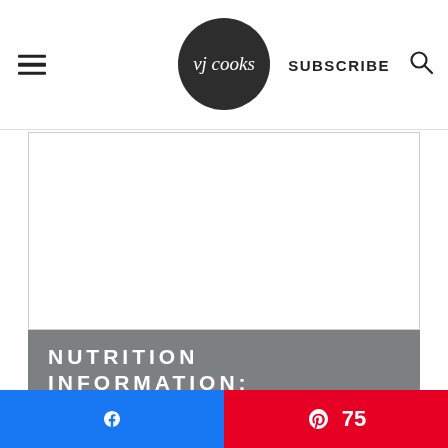VJ cooks — SUBSCRIBE
[Figure (screenshot): White content area partially visible above nutrition box]
NUTRITION INFORMATION:
Yield: 4  Serving Size: 1
Amount Per Serving:  Calories: 565
Total Fat: 29g  Saturated Fat: 12g  Trans Fat: 0g
Unsaturated Fat: 15g  Cholesterol: 111mg
Sodium: 617mg  Carbohydrates: 40g  Fiber: 3g
[Figure (infographic): Facebook share button (blue) and Pinterest share button (red) with count 75]